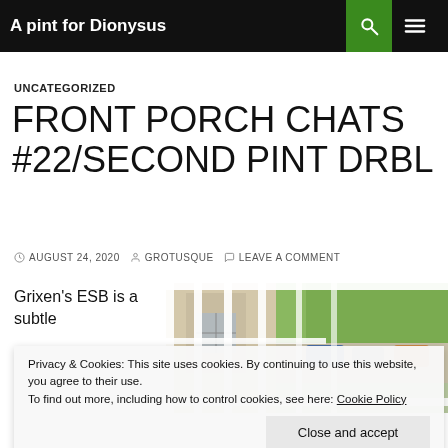A pint for Dionysus
UNCATEGORIZED
FRONT PORCH CHATS #22/SECOND PINT DRBL
AUGUST 24, 2020  GROTUSQUE  LEAVE A COMMENT
Grixen's ESB is a subtle
[Figure (photo): View through white porch railings to a street with parked cars and green trees]
Privacy & Cookies: This site uses cookies. By continuing to use this website, you agree to their use. To find out more, including how to control cookies, see here: Cookie Policy Close and accept